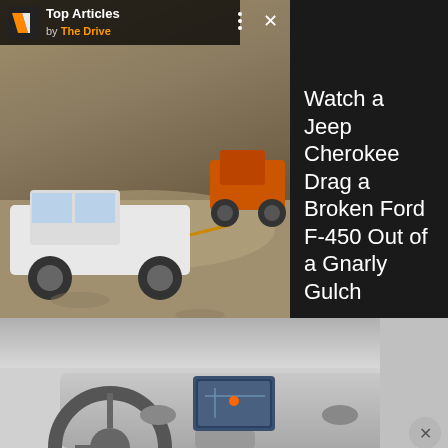[Figure (screenshot): Video ad overlay showing a truck being towed on a rocky trail, with Top Articles by The Drive branding, playback controls, and headline 'Watch a Jeep Cherokee Drag a Broken Ford F-450 Out of a Gnarly Gulch']
gear, versus 26.2 for the Mazda 3, though the latter hatchback measures gear stacked to the roof, versus just to the tonneau cover in the CX-3.
[Figure (photo): Interior view of Mazda CX-3 showing dashboard, steering wheel, and center infotainment screen]